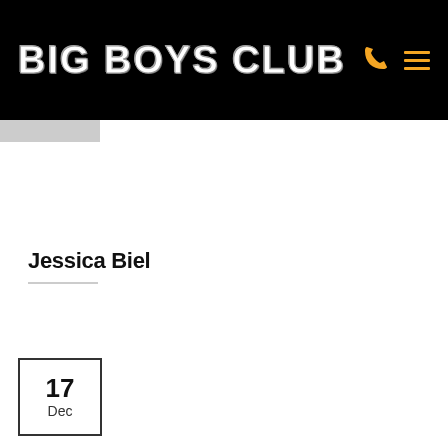BIG BOYS CLUB
Jessica Biel
17 Dec